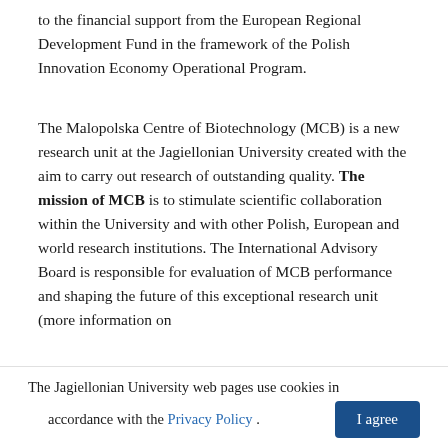to the financial support from the European Regional Development Fund in the framework of the Polish Innovation Economy Operational Program.
The Malopolska Centre of Biotechnology (MCB) is a new research unit at the Jagiellonian University created with the aim to carry out research of outstanding quality. The mission of MCB is to stimulate scientific collaboration within the University and with other Polish, European and world research institutions. The International Advisory Board is responsible for evaluation of MCB performance and shaping the future of this exceptional research unit (more information on
The Jagiellonian University web pages use cookies in accordance with the Privacy Policy . I agree